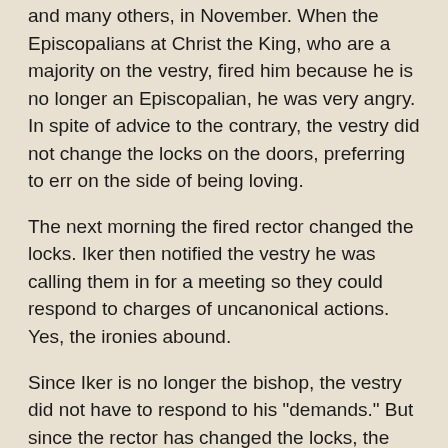and many others, in November. When the Episcopalians at Christ the King, who are a majority on the vestry, fired him because he is no longer an Episcopalian, he was very angry. In spite of advice to the contrary, the vestry did not change the locks on the doors, preferring to err on the side of being loving.
The next morning the fired rector changed the locks. Iker then notified the vestry he was calling them in for a meeting so they could respond to charges of uncanonical actions. Yes, the ironies abound.
Since Iker is no longer the bishop, the vestry did not have to respond to his "demands." But since the rector has changed the locks, the Episcopalians of Christ the King are now getting organized to meet elsewhere. Iker then announced he has "fired" the Episcopalians on the vestry -- which is, of course, a meaningless act by an irrelevant man.
Iker and the former rector continue to spread misinformation among the members of Christ the King.
In the meantime -- and this is the wonderful good news --